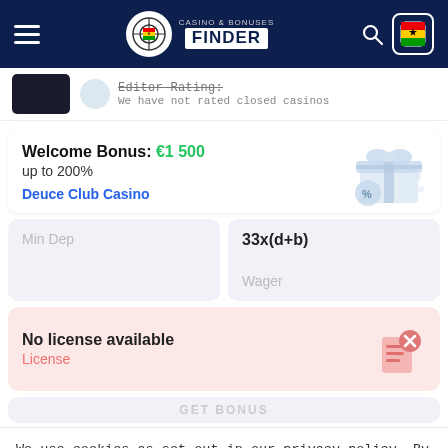[Figure (screenshot): Casino & Bonuses Finder website header with dark navy background, hamburger menu, logo, search icon, and Ghana flag button]
We have not rated closed casinos
Welcome Bonus: €1 500
up to 200%
Deuce Club Casino
33x(d+b)
Wager
Min Dep
No license available
License
We use cookies as set out in our privacy policy. By clicking on this pop up, you agree to our policies.
Read the privacy policy
It's OK For Me